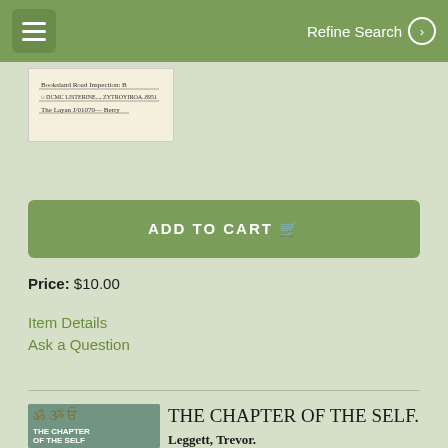Refine Search
[Figure (photo): Handwritten note or label on yellowish paper, partially visible]
ADD TO CART
Price: $10.00
Item Details
Ask a Question
[Figure (photo): Book cover of 'The Chapter of the Self' by Trevor Leggett, with decorative Sanskrit-style script on blue-green background]
THE CHAPTER OF THE SELF.
Leggett, Trevor.
London: Routledge & Kegan Paul, 1978. First edition. 175 pages. More >